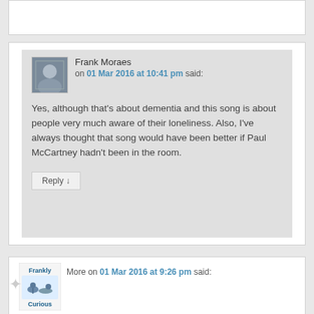(truncated comment at top)
Frank Moraes on 01 Mar 2016 at 10:41 pm said: Yes, although that's about dementia and this song is about people very much aware of their loneliness. Also, I've always thought that song would have been better if Paul McCartney hadn't been in the room. Reply ↓
Frankly Curious [logo] More on 01 Mar 2016 at 9:26 pm said: